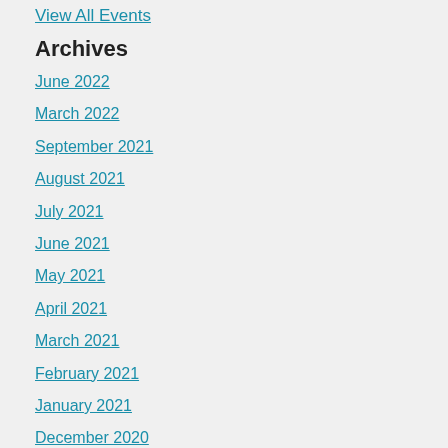View All Events
Archives
June 2022
March 2022
September 2021
August 2021
July 2021
June 2021
May 2021
April 2021
March 2021
February 2021
January 2021
December 2020
November 2020
October 2020